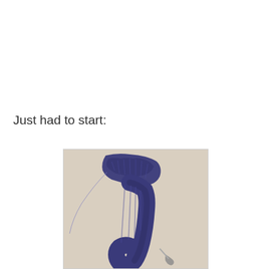Just had to start:
[Figure (photo): A close-up photograph of a piece of blue/navy knitting or crochet work in progress, shaped like a curved strip or letter shape, with a needle/hook visible at the bottom, on a light beige background.]